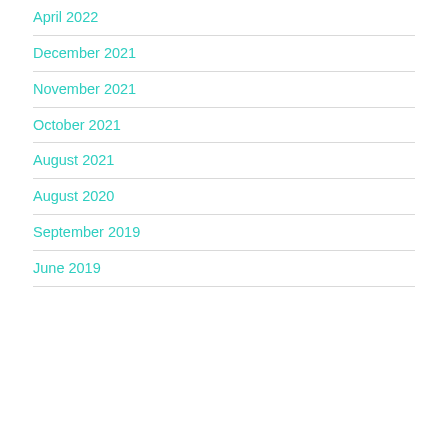April 2022
December 2021
November 2021
October 2021
August 2021
August 2020
September 2019
June 2019